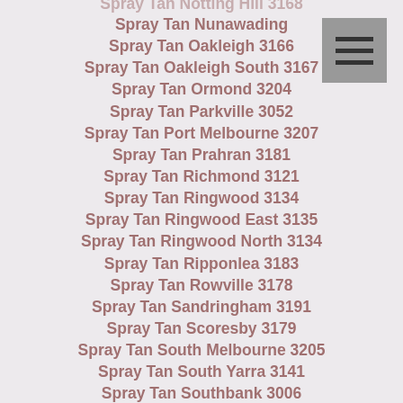Spray Tan Notting Hill 3168
Spray Tan Nunawading
Spray Tan Oakleigh 3166
Spray Tan Oakleigh South 3167
Spray Tan Ormond 3204
Spray Tan Parkville 3052
Spray Tan Port Melbourne 3207
Spray Tan Prahran 3181
Spray Tan Richmond 3121
Spray Tan Ringwood 3134
Spray Tan Ringwood East 3135
Spray Tan Ringwood North 3134
Spray Tan Ripponlea 3183
Spray Tan Rowville 3178
Spray Tan Sandringham 3191
Spray Tan Scoresby 3179
Spray Tan South Melbourne 3205
Spray Tan South Yarra 3141
Spray Tan Southbank 3006
Spray Tan Springvale 3171
Spray Tan Springvale South 3172
Spray Tan St Kilda 3182